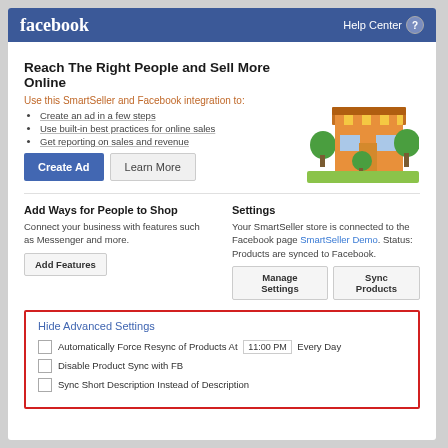facebook  Help Center
Reach The Right People and Sell More Online
Use this SmartSeller and Facebook integration to:
Create an ad in a few steps
Use built-in best practices for online sales
Get reporting on sales and revenue
[Figure (illustration): Illustration of a small shop/store building with trees]
Add Ways for People to Shop
Connect your business with features such as Messenger and more.
Settings
Your SmartSeller store is connected to the Facebook page SmartSeller Demo. Status: Products are synced to Facebook.
Hide Advanced Settings
Automatically Force Resync of Products At 11:00 PM Every Day
Disable Product Sync with FB
Sync Short Description Instead of Description